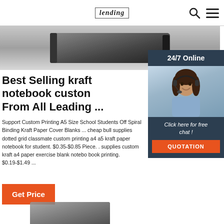Lording (logo) | search icon | menu icon
[Figure (photo): Gray/dark notebook product image at top of page]
[Figure (photo): 24/7 Online customer support sidebar with woman wearing headset, dark blue background, 'Click here for free chat!' text, and QUOTATION button]
Best Selling kraft notebook custon From All Leading ...
Support Custom Printing A5 Size School Students Off Spiral Binding Kraft Paper Cover Blanks ... cheap bull supplies dotted grid classmate custom printing a4 a5 kraft paper notebook for student. $0.35-$0.85 Piece. . supplies custom kraft a4 paper exercise blank notebo book printing. $0.19-$1.49 ...
[Figure (other): Get Price button (orange)]
[Figure (photo): Partial product image at bottom of page]